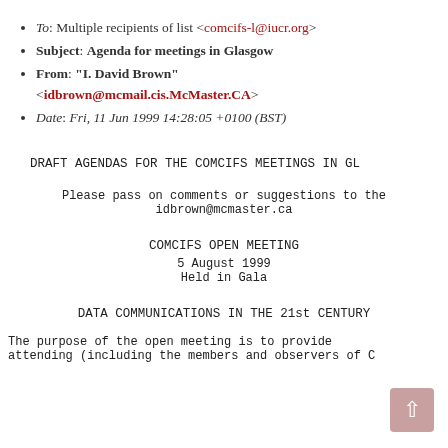To: Multiple recipients of list <comcifs-l@iucr.org>
Subject: Agenda for meetings in Glasgow
From: "I. David Brown" <idbrown@mcmail.cis.McMaster.CA>
Date: Fri, 11 Jun 1999 14:28:05 +0100 (BST)
DRAFT AGENDAS FOR THE COMCIFS MEETINGS IN GL
Please pass on comments or suggestions to the
idbrown@mcmaster.ca
COMCIFS OPEN MEETING
5 August 1999
Held in Gala
DATA COMMUNICATIONS IN THE 21st CENTURY
The purpose of the open meeting is to provide
attending (including the members and observers of C